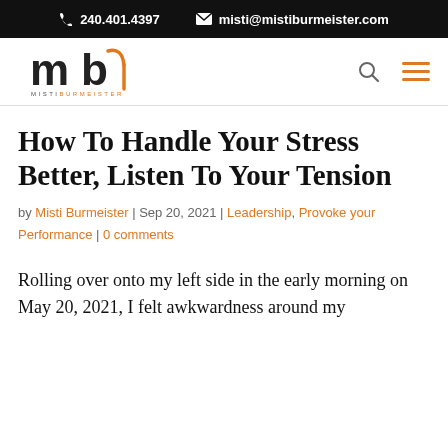📞 240.401.4397   ✉ misti@mistiburmeister.com
[Figure (logo): Misti Burmeister logo with stylized 'mb' letters in black and orange]
How To Handle Your Stress Better, Listen To Your Tension
by Misti Burmeister | Sep 20, 2021 | Leadership, Provoke your Performance | 0 comments
Rolling over onto my left side in the early morning on May 20, 2021, I felt awkwardness around my